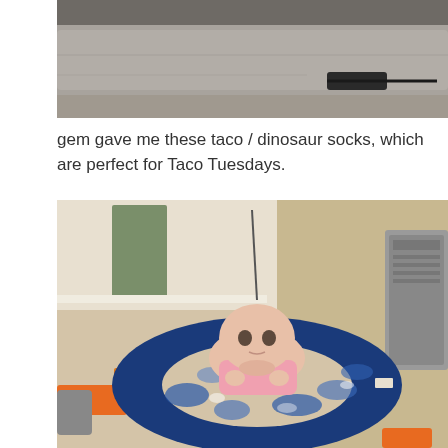[Figure (photo): Top portion of a photo showing a gray couch/sofa with what appears to be a dark cord or device on it, cropped at the top of the page.]
gem gave me these taco / dinosaur socks, which are perfect for Taco Tuesdays.
[Figure (photo): A baby lying on a blue donut-shaped Boppy pillow on a beige carpet, with orange and other colored toys scattered around. The baby is wearing pink clothing and looking at the camera.]